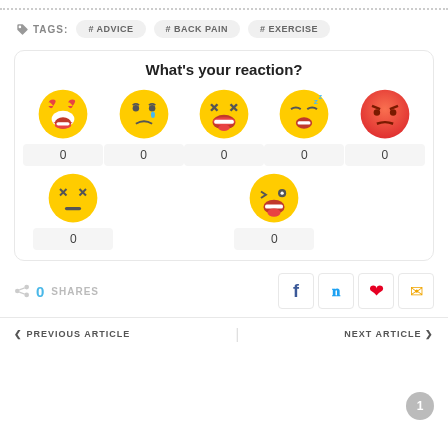TAGS: #ADVICE #BACK PAIN #EXERCISE
What's your reaction?
0 0 0 0 0 (emoji reaction counts row 1)
0 0 (emoji reaction counts row 2)
0 SHARES
PREVIOUS ARTICLE | NEXT ARTICLE